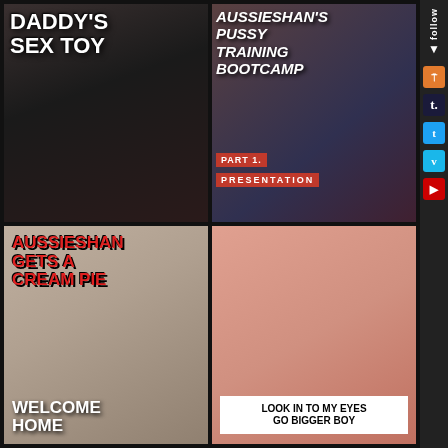[Figure (photo): Top-left thumbnail with white bold text overlay reading DADDY'S SEX TOY]
[Figure (photo): Top-right thumbnail with white italic bold text overlay reading AUSSIESHAN'S PUSSY TRAINING BOOTCAMP with red bar labels PART 1. and PRESENTATION]
[Figure (photo): Bottom-left thumbnail with red and white bold text overlay reading AUSSIESHAN GETS A CREAM PIE and WELCOME HOME]
[Figure (photo): Bottom-right thumbnail with white-on-black text box at bottom reading LOOK IN TO MY EYES GO BIGGER BOY]